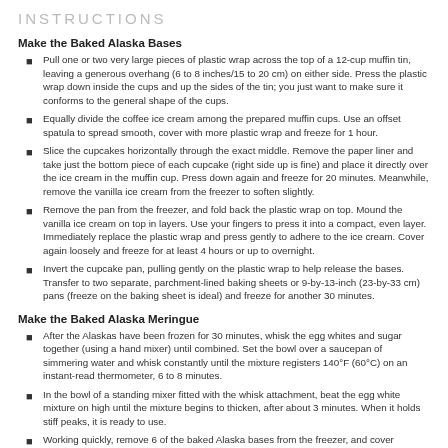INSTRUCTIONS
Make the Baked Alaska Bases
Pull one or two very large pieces of plastic wrap across the top of a 12-cup muffin tin, leaving a generous overhang (6 to 8 inches/15 to 20 cm) on either side. Press the plastic wrap down inside the cups and up the sides of the tin; you just want to make sure it conforms to the general shape of the cups.
Equally divide the coffee ice cream among the prepared muffin cups. Use an offset spatula to spread smooth, cover with more plastic wrap and freeze for 1 hour.
Slice the cupcakes horizontally through the exact middle. Remove the paper liner and take just the bottom piece of each cupcake (right side up is fine) and place it directly over the ice cream in the muffin cup. Press down again and freeze for 20 minutes. Meanwhile, remove the vanilla ice cream from the freezer to soften slightly.
Remove the pan from the freezer, and fold back the plastic wrap on top. Mound the vanilla ice cream on top in layers. Use your fingers to press it into a compact, even layer. Immediately replace the plastic wrap and press gently to adhere to the ice cream. Cover again loosely and freeze for at least 4 hours or up to overnight.
Invert the cupcake pan, pulling gently on the plastic wrap to help release the bases. Transfer to two separate, parchment-lined baking sheets or 9-by-13-inch (23-by-33 cm) pans (freeze on the baking sheet is ideal) and freeze for another 30 minutes.
Make the Baked Alaska Meringue
After the Alaskas have been frozen for 30 minutes, whisk the egg whites and sugar together (using a hand mixer) until combined. Set the bowl over a saucepan of simmering water and whisk constantly until the mixture registers 140°F (60°C) on an instant-read thermometer, 6 to 8 minutes.
In the bowl of a standing mixer fitted with the whisk attachment, beat the egg white mixture on high until the mixture begins to thicken, after about 3 minutes. When it holds stiff peaks, it is ready to use.
Working quickly, remove 6 of the baked Alaska bases from the freezer, and cover completely with meringue, taking care that no part of the base is showing, swirling and spiking the meringue as you go. Return to the freezer. Freeze for 2 hours or up to 24 hours.
Finish the Baked Alaskas